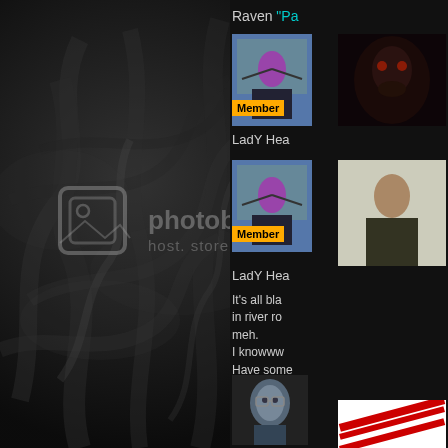[Figure (screenshot): Photobucket watermark overlay on a dark smoky background image with swirling smoke/fire texture in blacks and grays]
Raven "Pa
[Figure (photo): Small avatar thumbnail of a person with purple hair wearing dark clothing with arms outstretched, with orange Member badge]
[Figure (photo): Thumbnail of a person's face in dark/red lighting]
LadY Hea
[Figure (photo): Small avatar thumbnail of the same person with purple hair, arms outstretched, with orange Member badge]
[Figure (photo): Thumbnail of a person standing in a light room]
LadY Hea
It's all bla
in river ro
meh.
I knowww
Have some
Because, i
[Figure (photo): Close-up photo of a person wearing glasses]
[Figure (photo): Partial photo with red/white colors visible]